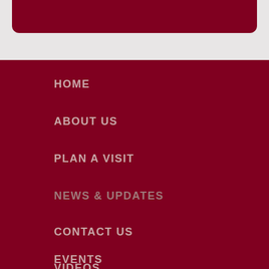HOME
ABOUT US
PLAN A VISIT
NEWS & UPDATES
CONTACT US
VIDEOS
EVENTS
LIVE